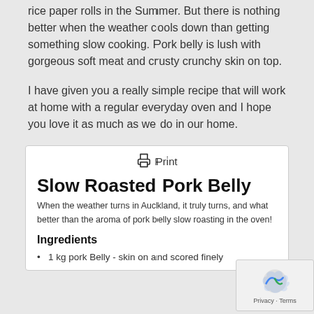rice paper rolls in the Summer. But there is nothing better when the weather cools down than getting something slow cooking. Pork belly is lush with gorgeous soft meat and crusty crunchy skin on top.
I have given you a really simple recipe that will work at home with a regular everyday oven and I hope you love it as much as we do in our home.
🖨 Print
Slow Roasted Pork Belly
When the weather turns in Auckland, it truly turns, and what better than the aroma of pork belly slow roasting in the oven!
Ingredients
1 kg pork Belly - skin on and scored finely